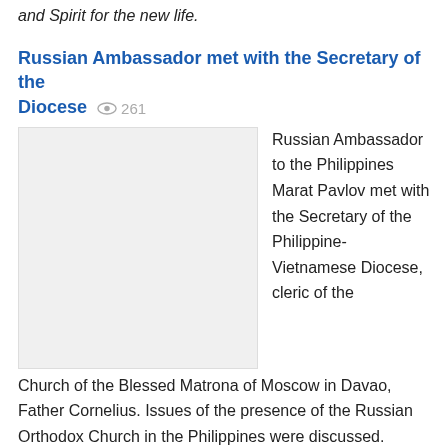and Spirit for the new life.
Russian Ambassador met with the Secretary of the Diocese   261
Russian Ambassador to the Philippines Marat Pavlov met with the Secretary of the Philippine-Vietnamese Diocese, cleric of the Church of the Blessed Matrona of Moscow in Davao, Father Cornelius. Issues of the presence of the Russian Orthodox Church in the Philippines were discussed.
Prayer on Tubabao island   262
The Secretary of the Diocese Hieromonk Korniliy (Molev) and Priest Moses Kahilig performed a memorial service at the cemetery of Guiuan, where Russian refugees who fled from China in 1949